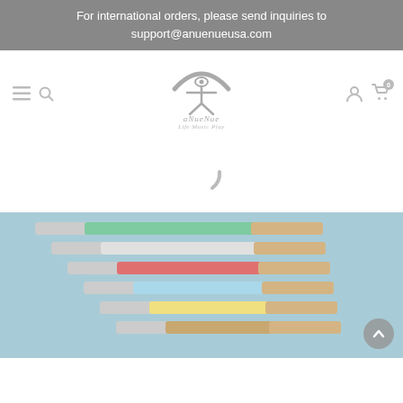For international orders, please send inquiries to support@anuenueusa.com
[Figure (logo): aNueNue brand logo with stylized figure holding a rainbow arc above its head, with text 'aNueNue' and tagline 'Life Music Play']
[Figure (screenshot): Website navigation bar with hamburger menu, search icon, aNueNue logo centered, and user/cart icons on the right]
[Figure (photo): Loading spinner (partial arc) in the middle of the page, indicating content is loading]
[Figure (photo): Product image showing multiple colored ukulele finger picks/slides arranged diagonally on a blue background: green, white, red, light blue, yellow, and tan colored sticks with wooden handles]